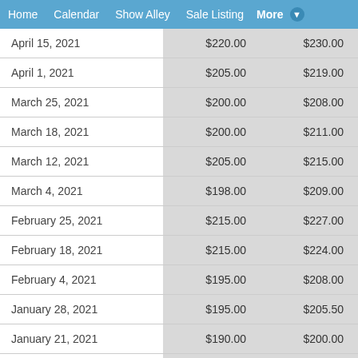Home   Calendar   Show Alley   Sale Listing   More
| Date | Col2 | Col3 |
| --- | --- | --- |
| April 15, 2021 | $220.00 | $230.00 |
| April 1, 2021 | $205.00 | $219.00 |
| March 25, 2021 | $200.00 | $208.00 |
| March 18, 2021 | $200.00 | $211.00 |
| March 12, 2021 | $205.00 | $215.00 |
| March 4, 2021 | $198.00 | $209.00 |
| February 25, 2021 | $215.00 | $227.00 |
| February 18, 2021 | $215.00 | $224.00 |
| February 4, 2021 | $195.00 | $208.00 |
| January 28, 2021 | $195.00 | $205.50 |
| January 21, 2021 | $190.00 | $200.00 |
| January 14, 2021 | $190.00 | $201.00 |
| December 17, 2020 | $195.00 | $205.00 |